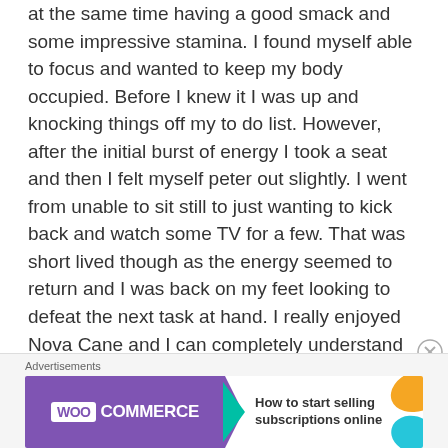at the same time having a good smack and some impressive stamina. I found myself able to focus and wanted to keep my body occupied. Before I knew it I was up and knocking things off my to do list. However, after the initial burst of energy I took a seat and then I felt myself peter out slightly. I went from unable to sit still to just wanting to kick back and watch some TV for a few. That was short lived though as the energy seemed to return and I was back on my feet looking to defeat the next task at hand. I really enjoyed Nova Cane and I can completely understand why it's a Cannabis Cup Winner. It's straight up beautiful, smells like the best Jack around, and has a strong clear headed long lasting enjoyable effect that's frankly
Advertisements
[Figure (illustration): WooCommerce advertisement banner with purple left section showing WooCommerce logo with white box and teal arrow, and white right section with text 'How to start selling subscriptions online' and orange/teal decorative shapes in corner]